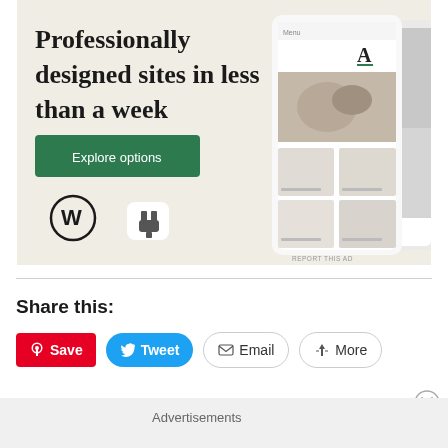[Figure (infographic): WordPress advertisement banner with beige background showing 'Professionally designed sites in less than a week' headline, green 'Explore options' button, WordPress logo, and website mockup device screenshots on the right side. 'REPORT THIS AD' text at bottom right.]
REPORT THIS AD
Share this:
Save
Tweet
Email
More
Advertisements
REPORT THIS AD